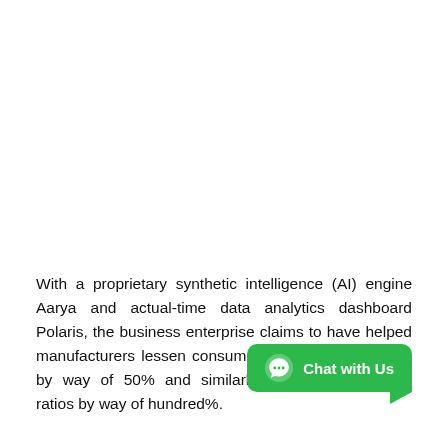With a proprietary synthetic intelligence (AI) engine Aarya and actual-time data analytics dashboard Polaris, the business enterprise claims to have helped manufacturers lessen consumer acquisition expenses by way of 50% and similarly enhance conversion ratios by way of hundred%.